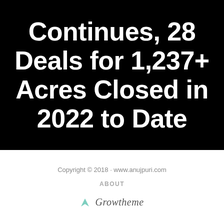Continues, 28 Deals for 1,237+ Acres Closed in 2022 to Date
Copyright © 2018 · www.anujpuri.com
ABOUT
[Figure (logo): Growtheme logo with arrow icon and italic script text]